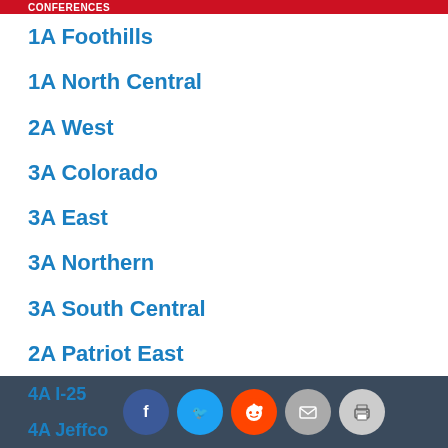Conferences
1A Foothills
1A North Central
2A West
3A Colorado
3A East
3A Northern
3A South Central
2A Patriot East
2A Patriot West
3A West
3A Western Slope
4A I-25  4A Jeffco